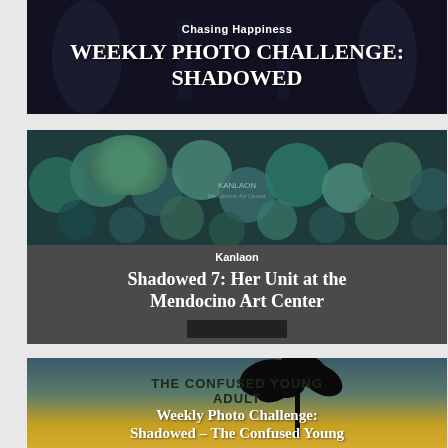[Figure (photo): Dark background image with centered white text overlay showing 'Chasing Happiness' subtitle and 'WEEKLY PHOTO CHALLENGE: SHADOWED' title]
[Figure (photo): Teal/green circular plant/pottery image overlay with gray text panel showing 'Kanlaon' author and 'Shadowed 7: Her Unit at the Mendocino Art Center' title]
[Figure (photo): Sunset/teal background with 'THE CONFUSED YOUNG ADULT' brand text and 'Weekly Photo Challenge: Shadowed – The Confused Young' article title with palm tree silhouette]